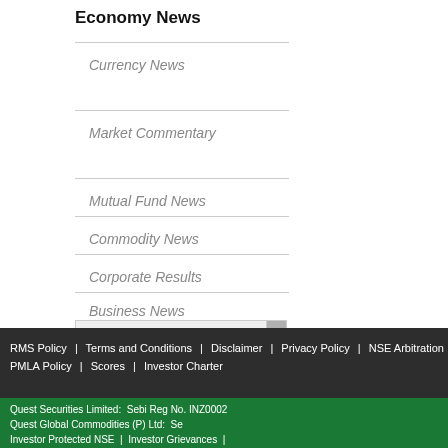Economy News
Currency News
Market Commentary
Mutual Fund News
Commodity News
Corporate Results
Business News
RMS Policy | Terms and Conditions | Disclaimer | Privacy Policy | NSE Arbitration | PMLA Policy | Scores | Investor Charter
Quest Securities Limited: Sebi Reg No. INZ0002... Quest Global Commodities (P) Ltd: Se... Investor Protected NSE | Investor Grievances |